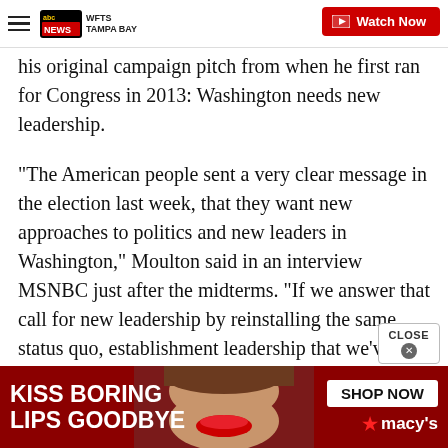WFTS TAMPA BAY | Watch Now
his original campaign pitch from when he first ran for Congress in 2013: Washington needs new leadership.
"The American people sent a very clear message in the election last week, that they want new approaches to politics and new leaders in Washington," Moulton said in an interview MSNBC just after the midterms. "If we answer that call for new leadership by reinstalling the same status quo, establishment leadership that we've had in this party since 2006, then we're letting down the American people."
[Figure (screenshot): Advertisement banner: KISS BORING LIPS GOODBYE - Macy's SHOP NOW ad with woman's face]